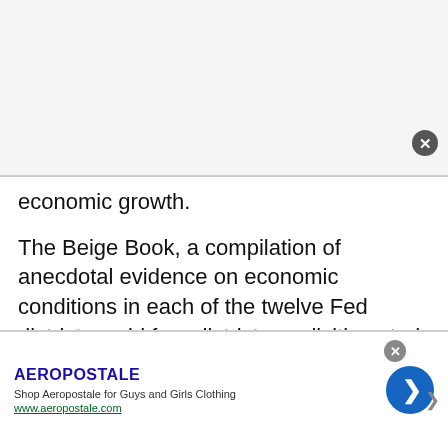economic growth.
The Beige Book, a compilation of anecdotal evidence on economic conditions in each of the twelve Fed districts, said four districts explicitly noted that the pace of growth had slowed since the prior period.
Reports on private sector employment, initial
[Figure (other): Advertisement banner for Aeropostale clothing with title 'AEROPOSTALE', description 'Shop Aeropostale for Guys and Girls Clothing', URL 'www.aeropostale.com', a blue circular arrow button, and a close button.]